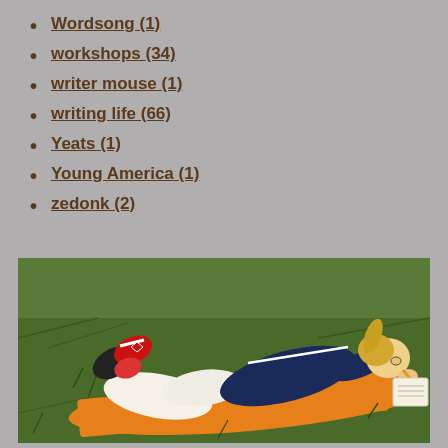Wordsong (1)
workshops (34)
writer mouse (1)
writing life (66)
Yeats (1)
Young America (1)
zedonk (2)
[Figure (photo): A young girl lying on an orange blanket on grass, writing in a notebook with a pencil, wearing a dark blue jacket and white shorts, with red and white sneakers visible.]